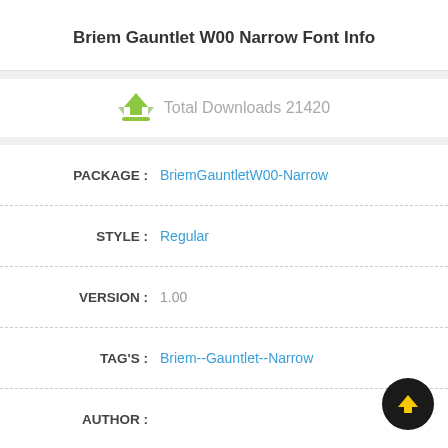Briem Gauntlet W00 Narrow Font Info
Total Downloads 21420
| Field | Value |
| --- | --- |
| PACKAGE : | BriemGauntletW00-Narrow |
| STYLE : | Regular |
| VERSION : | 1.00 |
| TAG'S : | Briem--Gauntlet--Narrow |
| AUTHOR : |  |
| SIZE : | 78.71 KB |
| COMPANY : | Linotype GmbH |